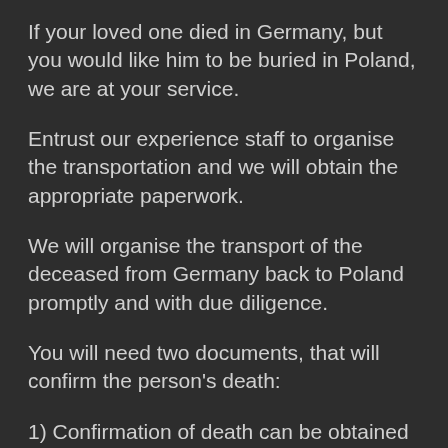If your loved one died in Germany, but you would like him to be buried in Poland, we are at your service.
Entrust our experience staff to organise the transportation and we will obtain the appropriate paperwork.
We will organise the transport of the deceased from Germany back to Poland promptly and with due diligence.
You will need two documents, that will confirm the person's death:
1) Confirmation of death can be obtained directly from the hospital